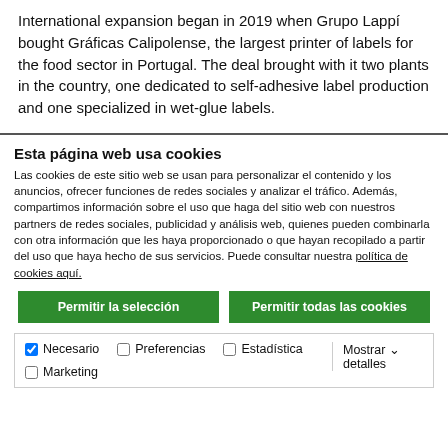International expansion began in 2019 when Grupo Lappí bought Gráficas Calipolense, the largest printer of labels for the food sector in Portugal. The deal brought with it two plants in the country, one dedicated to self-adhesive label production and one specialized in wet-glue labels.
Esta página web usa cookies
Las cookies de este sitio web se usan para personalizar el contenido y los anuncios, ofrecer funciones de redes sociales y analizar el tráfico. Además, compartimos información sobre el uso que haga del sitio web con nuestros partners de redes sociales, publicidad y análisis web, quienes pueden combinarla con otra información que les haya proporcionado o que hayan recopilado a partir del uso que haya hecho de sus servicios. Puede consultar nuestra política de cookies aquí.
Permitir la selección | Permitir todas las cookies
Necesario  Preferencias  Estadística  Marketing  Mostrar detalles